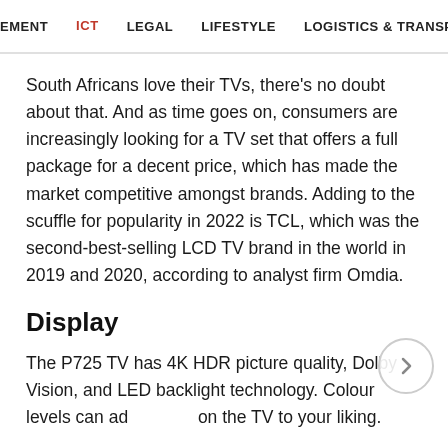EMENT  ICT  LEGAL  LIFESTYLE  LOGISTICS & TRANSPORT  MANUFA
South Africans love their TVs, there's no doubt about that. And as time goes on, consumers are increasingly looking for a TV set that offers a full package for a decent price, which has made the market competitive amongst brands. Adding to the scuffle for popularity in 2022 is TCL, which was the second-best-selling LCD TV brand in the world in 2019 and 2020, according to analyst firm Omdia.
Display
The P725 TV has 4K HDR picture quality, Dolby Vision, and LED backlight technology. Colour levels can ad on the TV to your liking.